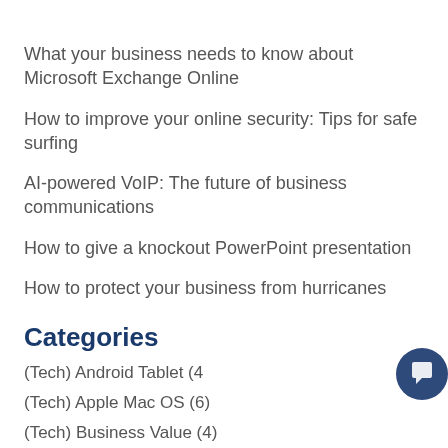What your business needs to know about Microsoft Exchange Online
How to improve your online security: Tips for safe surfing
AI-powered VoIP: The future of business communications
How to give a knockout PowerPoint presentation
How to protect your business from hurricanes
Categories
(Tech) Android Tablet (4
(Tech) Apple Mac OS (6)
(Tech) Business Value (4)
(Tech) Cloud-Office 365 (4)
[Figure (screenshot): Chat popup overlay with avatar photo of a woman, close button (x), and message 'Hey there! How can we help you today?' along with a dark blue chat button in the bottom right corner.]